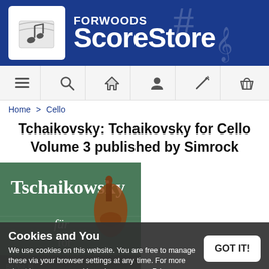[Figure (logo): Forwoods ScoreStore logo with music note icon on white background against blue banner]
FORWOODS ScoreStore
[Figure (infographic): Navigation bar with icons: hamburger menu, search, home, user/account, wand/magic, shopping basket]
Home > Cello
Tchaikovsky: Tchaikovsky for Cello Volume 3 published by Simrock
[Figure (photo): Book cover showing Tschaikowsky für/for Cello on green background with cello image]
Cookies and You
We use cookies on this website. You are free to manage these via your browser settings at any time. For more about how we use cookies, please see our Privacy Policy.